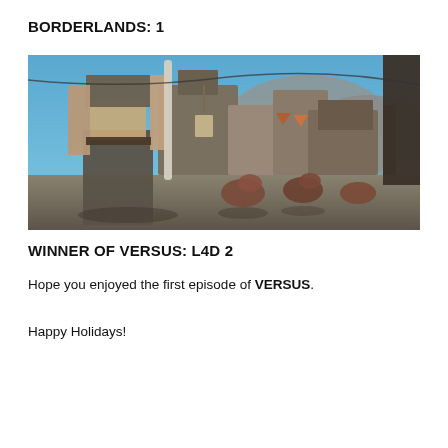BORDERLANDS: 1
[Figure (screenshot): Screenshot from the video game Borderlands showing a female character seen from behind holding a bat, facing mutant dog-like creatures in a post-apocalyptic settlement environment with dilapidated buildings and a blue sky.]
WINNER OF VERSUS: L4D 2
Hope you enjoyed the first episode of VERSUS.
Happy Holidays!